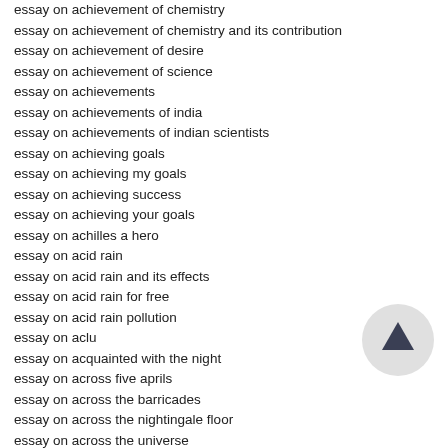essay on achievement of chemistry
essay on achievement of chemistry and its contribution
essay on achievement of desire
essay on achievement of science
essay on achievements
essay on achievements of india
essay on achievements of indian scientists
essay on achieving goals
essay on achieving my goals
essay on achieving success
essay on achieving your goals
essay on achilles a hero
essay on acid rain
essay on acid rain and its effects
essay on acid rain for free
essay on acid rain pollution
essay on aclu
essay on acquainted with the night
essay on across five aprils
essay on across the barricades
essay on across the nightingale floor
essay on across the universe
essay on act
essay on act 1 scene 3 in macbeth about macbeth
essay on act 3 scene 4 of hamlet
essay on act of kindness
[Figure (other): Circular scroll-to-top button with an upward-pointing dark arrow icon on a light grey circular background]